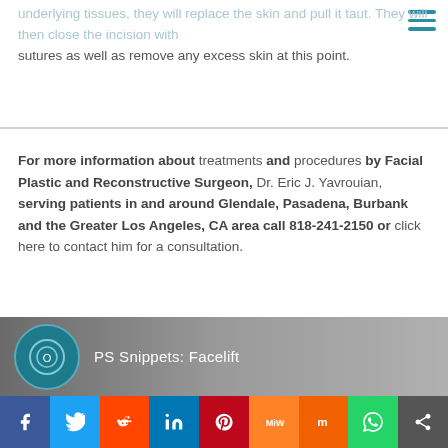underlying tissues, they will replace the skin and pull it taut. They will then close the incision with sutures as well as remove any excess skin at this point.
For more information about treatments and procedures by Facial Plastic and Reconstructive Surgeon, Dr. Eric J. Yavrouian, serving patients in and around Glendale, Pasadena, Burbank and the Greater Los Angeles, CA area call 818-241-2150 or click here to contact him for a consultation.
[Figure (screenshot): Video thumbnail for 'PS Snippets: Facelift' with American Society of Plastic Surgeons logo on dark grey gradient background]
[Figure (infographic): Social media sharing bar with buttons for Facebook, Twitter, Reddit, LinkedIn, Pinterest, Mix, Meneame, WhatsApp, and Share]